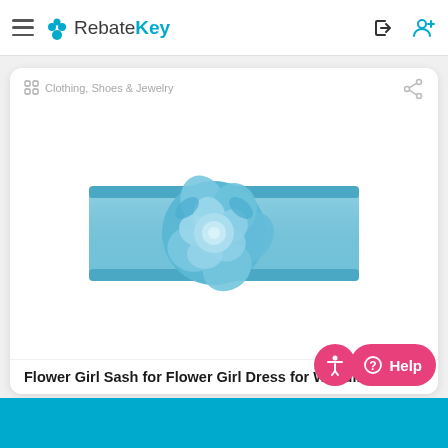RebateKey
Clothing, Shoes & Jewelry
[Figure (photo): A blue satin flower girl sash with a large decorative rose in the center, on white background]
Flower Girl Sash for Flower Girl Dress for Wedding, D...